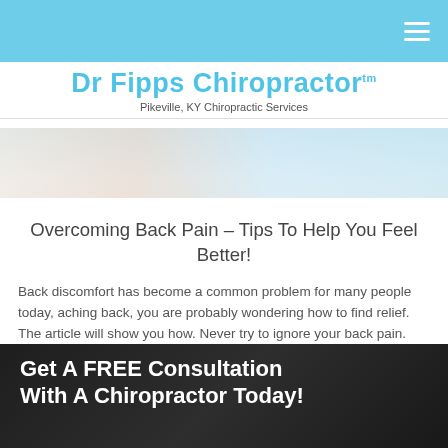Dr Fipps Chiropractor™ — Pikeville, KY Chiropractic Services
[Figure (photo): Partial view of a chiropractic or medical image, light blue and skin tones, cropped at top of content area]
Overcoming Back Pain – Tips To Help You Feel Better!
Back discomfort has become a common problem for many people today, aching back, you are probably wondering how to find relief. The article will show you how. Never try to ignore your back pain. Some people completely ignore their bodies send them. They attempt to just ignore the pain in their back pain. Try to get some rest until the pain eases up.
[Figure (photo): Dark background photo, partially visible, used as background for CTA section]
Get A FREE Consultation With A Chiropractor Today!